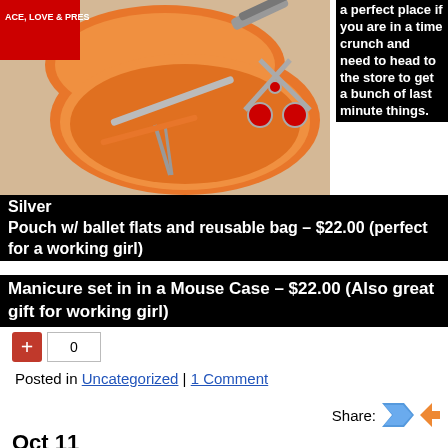[Figure (photo): Orange manicure set case open showing scissors, nail file, tweezers and other tools, with 'ACE, LOVE & PRES' text visible on red packaging in background]
a perfect place if you are in a time crunch and need to head to the store to get a bunch of last minute things.
Silver Pouch w/ ballet flats and reusable bag – $22.00 (perfect for a working girl)
Manicure set in in a Mouse Case – $22.00 (Also great gift for working girl)
0
Posted in Uncategorized | 1 Comment
Share:
Oct 11